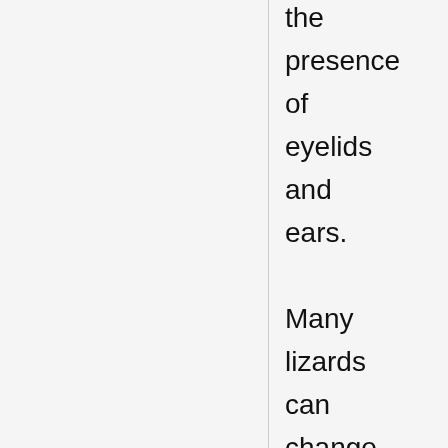the presence of eyelids and ears. Many lizards can change color in response to their